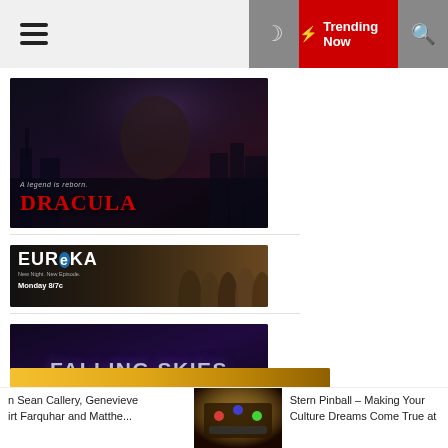☰ ☾ ⚡ Trending Now 🔍
[Figure (photo): Dracula TV show promotional image with dark gothic background showing Big Ben, man in suit, and woman. Text reads 'A legend is reborn. DRACULA']
[Figure (photo): Eureka TV show banner with cast members. Text reads 'EUReKA New Night. New Episode. Monday 8/7c']
[Figure (photo): Falling Skies TV show logo with purple glow effect and metallic text on dark background]
[Figure (photo): FlashForward TV show logo with golden/amber gradient background and bold black text]
n Sean Callery, Genevieve irt Farquhar and Matthe...
[Figure (photo): Pinball machine photo with colorful lights]
Stern Pinball – Making Your Culture Dreams Come True at